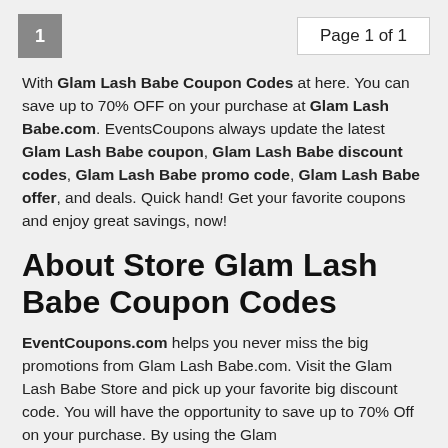1   Page 1 of 1
With Glam Lash Babe Coupon Codes at here. You can save up to 70% OFF on your purchase at Glam Lash Babe.com. EventsCoupons always update the latest Glam Lash Babe coupon, Glam Lash Babe discount codes, Glam Lash Babe promo code, Glam Lash Babe offer, and deals. Quick hand! Get your favorite coupons and enjoy great savings, now!
About Store Glam Lash Babe Coupon Codes
EventCoupons.com helps you never miss the big promotions from Glam Lash Babe.com. Visit the Glam Lash Babe Store and pick up your favorite big discount code. You will have the opportunity to save up to 70% Off on your purchase. By using the Glam